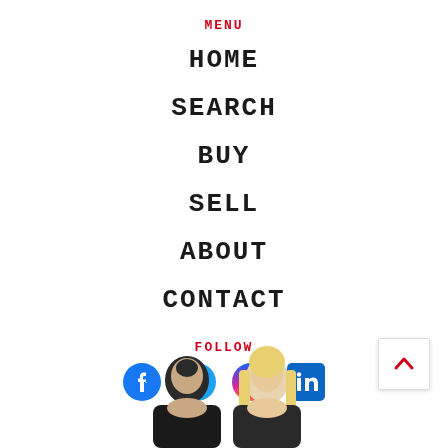MENU
HOME
SEARCH
BUY
SELL
ABOUT
CONTACT
FOLLOW
[Figure (infographic): Social media icons: Facebook, Twitter, Instagram, LinkedIn]
[Figure (photo): Two people — a man with dark hair and a woman with blonde hair — shown from shoulders up against white background]
[Figure (other): Back-to-top button with red chevron/arrow pointing up]